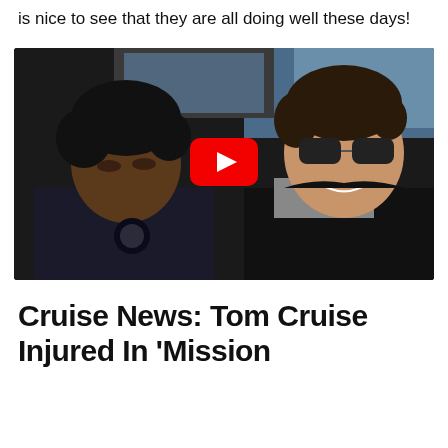is nice to see that they are all doing well these days!
[Figure (screenshot): Video thumbnail showing two men sitting inside a vehicle. On the left is a young man with curly hair wearing a dark jacket. On the right is a smiling man with sunglasses and dark hair wearing a grey sweater and dark jacket. A red YouTube play button overlay is centered on the image.]
Cruise News: Tom Cruise Injured In 'Mission